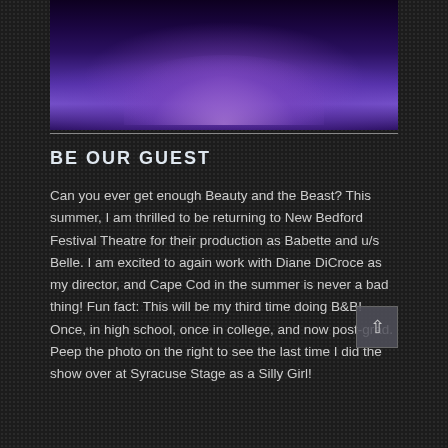[Figure (photo): A performer in a large blue/purple ball gown dress on a dark stage, likely from Beauty and the Beast musical production]
BE OUR GUEST
Can you ever get enough Beauty and the Beast? This summer, I am thrilled to be returning to New Bedford Festival Theatre for their production as Babette and u/s Belle. I am excited to again work with Diane DiCroce as my director, and Cape Cod in the summer is never a bad thing! Fun fact: This will be my third time doing B&B! Once, in high school, once in college, and now post-grad. Peep the photo on the right to see the last time I did the show over at Syracuse Stage as a Silly Girl!